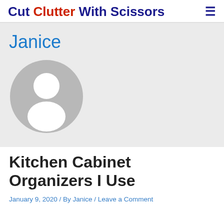Cut Clutter With Scissors
[Figure (illustration): Default user avatar placeholder — grey circle with white silhouette of a person (head and shoulders), representing the author Janice]
Janice
Kitchen Cabinet Organizers I Use
January 9, 2020 / By Janice / Leave a Comment